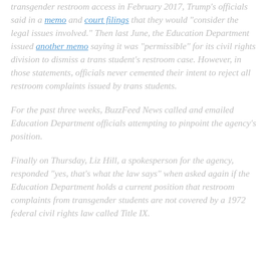transgender restroom access in February 2017, Trump's officials said in a memo and court filings that they would "consider the legal issues involved." Then last June, the Education Department issued another memo saying it was "permissible" for its civil rights division to dismiss a trans student's restroom case. However, in those statements, officials never cemented their intent to reject all restroom complaints issued by trans students.
For the past three weeks, BuzzFeed News called and emailed Education Department officials attempting to pinpoint the agency's position.
Finally on Thursday, Liz Hill, a spokesperson for the agency, responded "yes, that's what the law says" when asked again if the Education Department holds a current position that restroom complaints from transgender students are not covered by a 1972 federal civil rights law called Title IX.